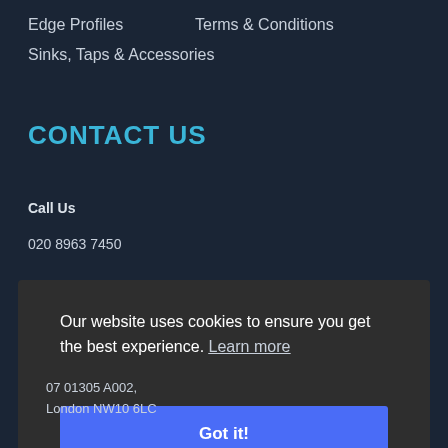Edge Profiles
Terms & Conditions
Sinks, Taps & Accessories
CONTACT US
Call Us
020 8963 7450
Our website uses cookies to ensure you get the best experience. Learn more
Got it!
07 01305 A002,
London NW10 6LC